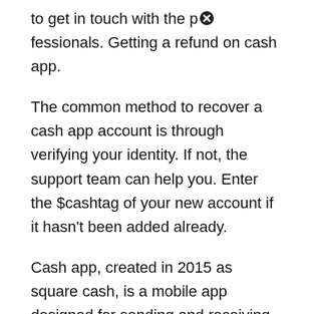to get in touch with the professionals. Getting a refund on cash app.
The common method to recover a cash app account is through verifying your identity. If not, the support team can help you. Enter the $cashtag of your new account if it hasn't been added already.
Cash app, created in 2015 as square cash, is a mobile app designed for sending and receiving money. If you have trouble logging in, contact support. When in email cash app support they just keep responding me with the same email saying that i my account is closed because i violated the terms of agreement.
Here are just a few examples of the types of